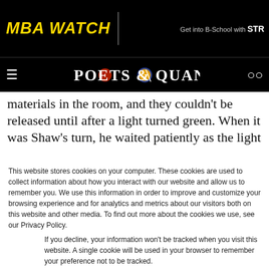MBA WATCH | Get into B-School with STR
[Figure (logo): Poets & Quants logo with navigation bar on black background]
materials in the room, and they couldn't be released until after a light turned green. When it was Shaw's turn, he waited patiently as the light
This website stores cookies on your computer. These cookies are used to collect information about how you interact with our website and allow us to remember you. We use this information in order to improve and customize your browsing experience and for analytics and metrics about our visitors both on this website and other media. To find out more about the cookies we use, see our Privacy Policy.
If you decline, your information won't be tracked when you visit this website. A single cookie will be used in your browser to remember your preference not to be tracked.